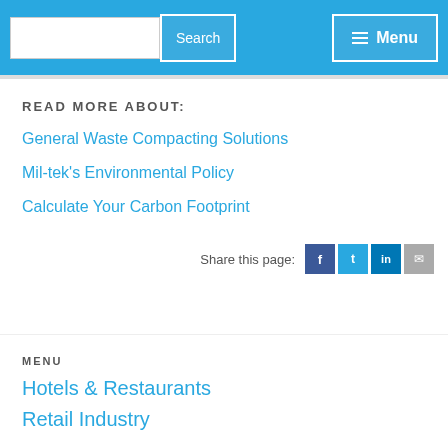Search | Menu
READ MORE ABOUT:
General Waste Compacting Solutions
Mil-tek's Environmental Policy
Calculate Your Carbon Footprint
Share this page:
MENU
Hotels & Restaurants
Retail Industry